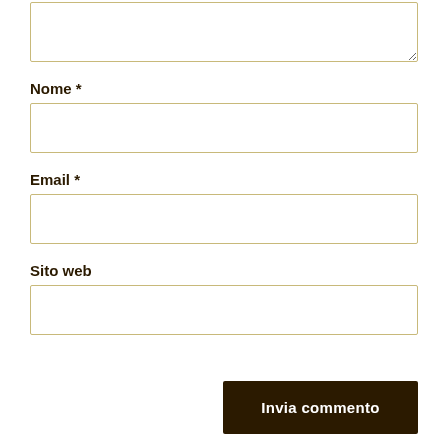[Figure (screenshot): Bottom part of a web comment form showing a resizable textarea at top (partially visible), followed by labeled input fields for Nome (required), Email (required), Sito web, and a dark brown submit button labeled 'Invia commento'.]
Nome *
Email *
Sito web
Invia commento